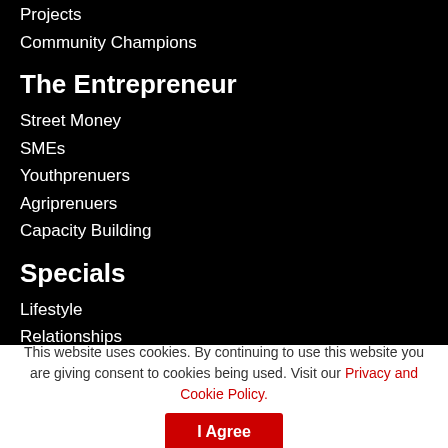Projects
Community Champions
The Entrepreneur
Street Money
SMEs
Youthprenuers
Agriprenuers
Capacity Building
Specials
Lifestyle
Relationships
Books & Arts
Faith
This website uses cookies. By continuing to use this website you are giving consent to cookies being used. Visit our Privacy and Cookie Policy.
I Agree